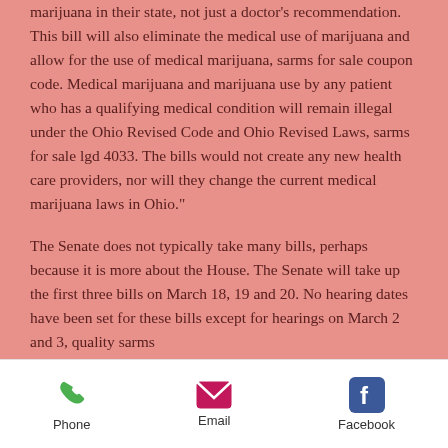marijuana in their state, not just a doctor's recommendation. This bill will also eliminate the medical use of marijuana and allow for the use of medical marijuana, sarms for sale coupon code. Medical marijuana and marijuana use by any patient who has a qualifying medical condition will remain illegal under the Ohio Revised Code and Ohio Revised Laws, sarms for sale lgd 4033. The bills would not create any new health care providers, nor will they change the current medical marijuana laws in Ohio."
The Senate does not typically take many bills, perhaps because it is more about the House. The Senate will take up the first three bills on March 18, 19 and 20. No hearing dates have been set for these bills except for hearings on March 2 and 3, quality sarms
Phone   Email   Facebook